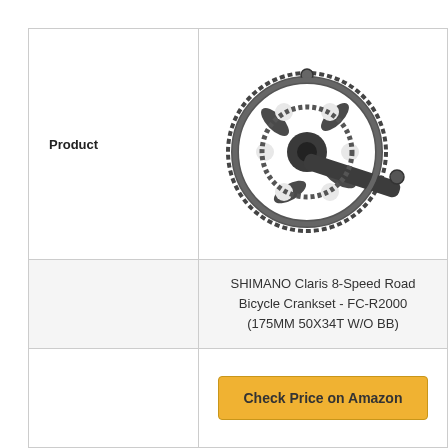| Product |  |
| --- | --- |
| Product | [image: crankset] |
|  | SHIMANO Claris 8-Speed Road Bicycle Crankset - FC-R2000 (175MM 50X34T W/O BB) |
|  | Check Price on Amazon |
[Figure (photo): Shimano bicycle crankset product photo showing chainring and crank arm, dark grey metallic finish]
| Product |  |
| --- | --- |
| Product | [image: crankset partial] |
[Figure (photo): Second Shimano crankset product photo, partially visible at bottom of page]